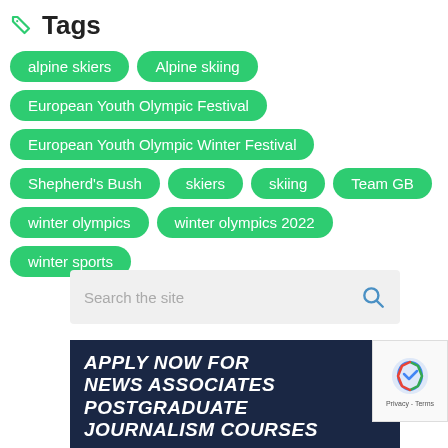Tags
alpine skiers
Alpine skiing
European Youth Olympic Festival
European Youth Olympic Winter Festival
Shepherd's Bush
skiers
skiing
Team GB
winter olympics
winter olympics 2022
winter sports
Search the site
[Figure (other): Advertisement banner: APPLY NOW FOR NEWS ASSOCIATES POSTGRADUATE JOURNALISM COURSES on dark navy background]